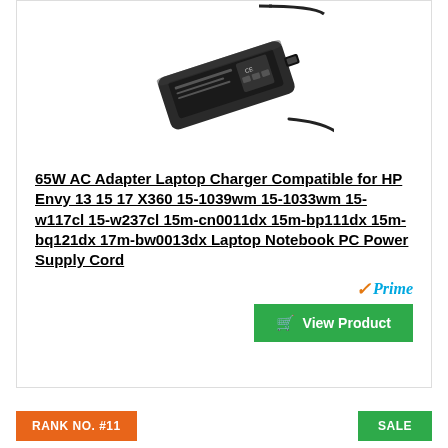[Figure (photo): Black rectangular laptop AC adapter/charger with a cable attached, viewed from a slight angle against white background.]
65W AC Adapter Laptop Charger Compatible for HP Envy 13 15 17 X360 15-1039wm 15-1033wm 15-w117cl 15-w237cl 15m-cn0011dx 15m-bp111dx 15m-bq121dx 17m-bw0013dx Laptop Notebook PC Power Supply Cord
Prime
View Product
RANK NO. #11
SALE